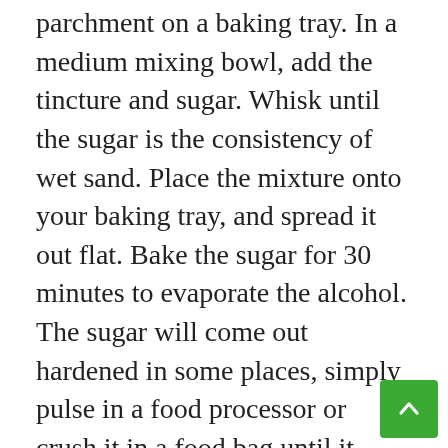parchment on a baking tray. In a medium mixing bowl, add the tincture and sugar. Whisk until the sugar is the consistency of wet sand. Place the mixture onto your baking tray, and spread it out flat. Bake the sugar for 30 minutes to evaporate the alcohol. The sugar will come out hardened in some places, simply pulse in a food processor or crush it in a food bag until it returns to its original consistency. As sugar is a very universal ingredient, store in a dry but handy place.
Two cups of this sugar has 48 mg of THC in it, making it easy to incorporate and dose properly without fear of going overboard. If you'd like to see how to calculate the potency of this recipe using your preferred strain of cannabis, check out our guide here.